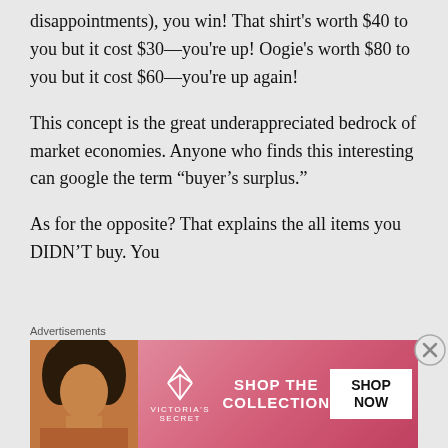disappointments), you win! That shirt's worth $40 to you but it cost $30—you're up! Oogie's worth $80 to you but it cost $60—you're up again!
This concept is the great underappreciated bedrock of market economies. Anyone who finds this interesting can google the term “buyer’s surplus.”
As for the opposite? That explains the all items you DIDN'T buy. You
Advertisements
[Figure (photo): Victoria's Secret advertisement banner with a model, VS logo, 'SHOP THE COLLECTION' text, and a 'SHOP NOW' button on pink/red gradient background.]